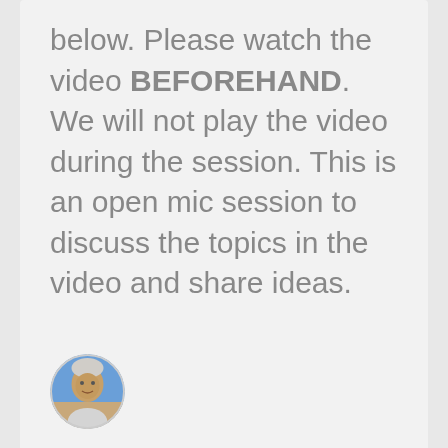below. Please watch the video BEFOREHAND. We will not play the video during the session. This is an open mic session to discuss the topics in the video and share ideas.
[Figure (photo): Small circular avatar/profile photo of a person (appears to be an older man outdoors)]